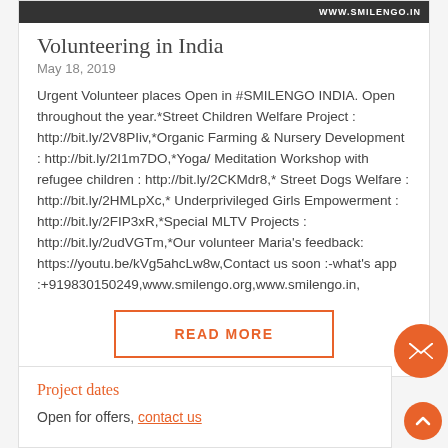[Figure (photo): Dark banner image with www.smilengo.in text on the right]
Volunteering in India
May 18, 2019
Urgent Volunteer places Open in #SMILENGO INDIA. Open throughout the year.*Street Children Welfare Project : http://bit.ly/2V8PIiv,*Organic Farming & Nursery Development : http://bit.ly/2I1m7DO,*Yoga/ Meditation Workshop with refugee children : http://bit.ly/2CKMdr8,* Street Dogs Welfare : http://bit.ly/2HMLpXc,* Underprivileged Girls Empowerment : http://bit.ly/2FIP3xR,*Special MLTV Projects : http://bit.ly/2udVGTm,*Our volunteer Maria's feedback: https://youtu.be/kVg5ahcLw8w,Contact us soon :-what's app :+919830150249,www.smilengo.org,www.smilengo.in,
READ MORE
Project dates
Open for offers, contact us